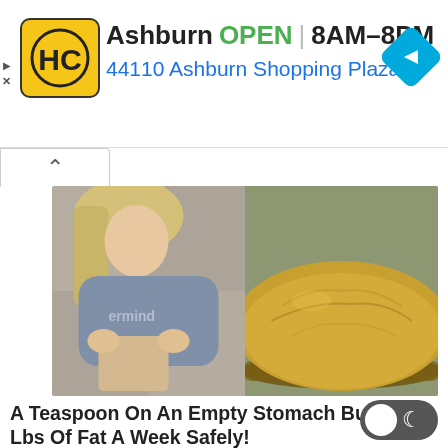[Figure (screenshot): Advertisement banner for HC (Honest Cash or similar) store in Ashburn showing logo, open hours 8AM-8PM, address 44110 Ashburn Shopping Plaza 1., and navigation icon]
Ashburn  OPEN  8AM–8PM
44110 Ashburn Shopping Plaza 1.
[Figure (photo): Split image: left side shows fit blonde woman in grey sweater holding up shirt to show abs, right side shows a spoonful of golden-brown powder (supplement)]
A Teaspoon On An Empty Stomach Burns 12 Lbs Of Fat A Week Safely!
KETO BLAST
[Figure (photo): Partial bottom strip showing colorful food image]